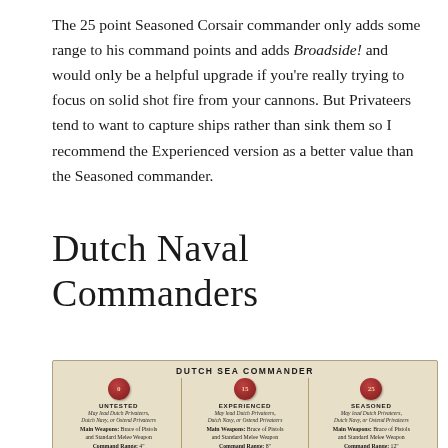The 25 point Seasoned Corsair commander only adds some range to his command points and adds Broadside! and would only be a helpful upgrade if you're really trying to focus on solid shot fire from your cannons. But Privateers tend to want to capture ships rather than sink them so I recommend the Experienced version as a better value than the Seasoned commander.
Dutch Naval Commanders
[Figure (other): Dutch Sea Commander card showing three tiers: Untested (0 pts), Experienced (15 pts), Seasoned (25 pts) with wax seals, troop types, main weapons (Brace of Pistols and Standard Melee Weapon), and command ranges of 4", 8", and 12" respectively.]